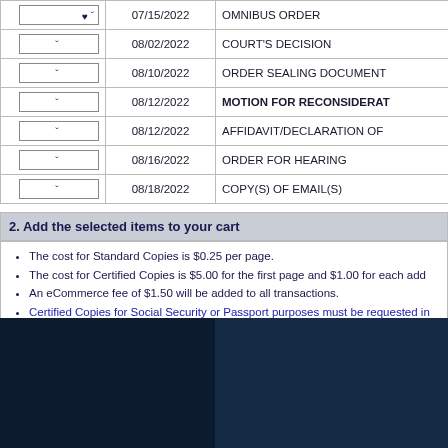| Select | Date | Description |
| --- | --- | --- |
| ▾ | 07/15/2022 | OMNIBUS ORDER |
| ▾ | 08/02/2022 | COURT'S DECISION |
| ▾ | 08/10/2022 | ORDER SEALING DOCUMENT |
| ▾ | 08/12/2022 | MOTION FOR RECONSIDERATION |
| ▾ | 08/12/2022 | AFFIDAVIT/DECLARATION OF |
| ▾ | 08/16/2022 | ORDER FOR HEARING |
| ▾ | 08/18/2022 | COPY(S) OF EMAIL(S) |
2. Add the selected items to your cart
The cost for Standard Copies is $0.25 per page.
The cost for Certified Copies is $5.00 for the first page and $1.00 for each add
An eCommerce fee of $1.50 will be added to all transactions.
Certified Copies for Social Security or Passport purposes must be requested in at 930 Tacoma Ave S, Room 110 Tacoma, Wa 98402. Please include a money orde